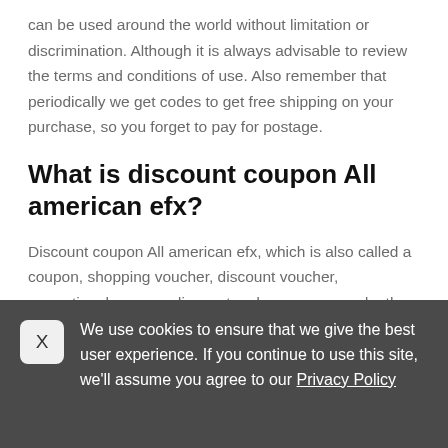can be used around the world without limitation or discrimination. Although it is always advisable to review the terms and conditions of use. Also remember that periodically we get codes to get free shipping on your purchase, so you forget to pay for postage.
What is discount coupon All american efx?
Discount coupon All american efx, which is also called a coupon, shopping voucher, discount voucher, promotional coupon, discount code, or promo code, they are those codes that give you a discount.
We use cookies to ensure that we give the best user experience. If you continue to use this site, we'll assume you agree to our Privacy Policy